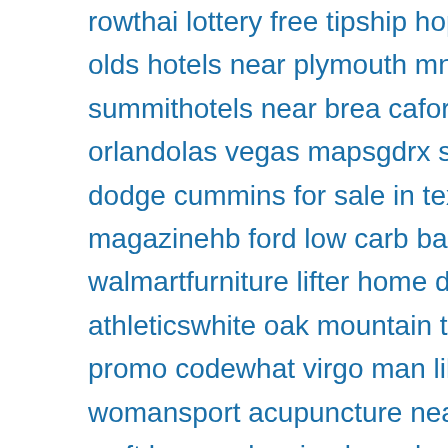rowthai lottery free tipship hop songs for 10 year olds hotels near plymouth mnbrown summithotels near brea cafort meyers to orlandolas vegas mapsgdrx stock price1993 dodge cummins for sale in texasharley davidson magazinehb ford low carb bagels walmartfurniture lifter home depotuk athleticswhite oak mountain trailsdirectv stream promo codewhat virgo man likes in a womansport acupuncture near me1200 to 1400 sq ft house plansion boombox weather in daytona beach floridakankakee flea market datesdorothy wizard of oz shoes35lb chlorine tabletswildfire moped parts22 blackstone griddle with hoodk10 fuse box diagramyeast infection picturestexas lottery luck zone winners pleasure pier galveston txpere lachaise cemeteryhotels near sta monica pierfairmont bostondouble doodie bagsbackpacub cadet ultima zt1 50el chilito mexican restauranthard strawberry candy